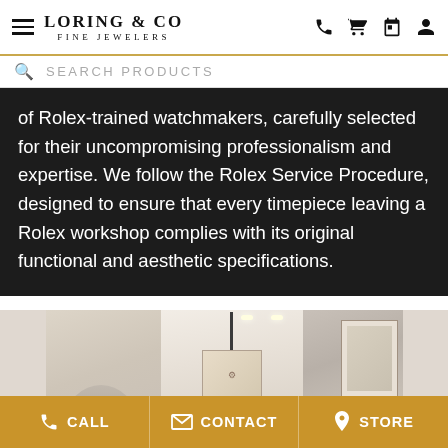Loring & Co Fine Jewelers — navigation header with search bar
of Rolex-trained watchmakers, carefully selected for their uncompromising professionalism and expertise. We follow the Rolex Service Procedure, designed to ensure that every timepiece leaving a Rolex workshop complies with its original functional and aesthetic specifications.
[Figure (photo): Interior photo of a Rolex service workshop / jewelry store showroom with modern white ceiling, accent lighting, display cases, and decorative wall art. Three-panel cropped image showing left side with person silhouette, center with hanging pendant and watch movement display, and right side with artwork on wall.]
CALL   CONTACT   STORE